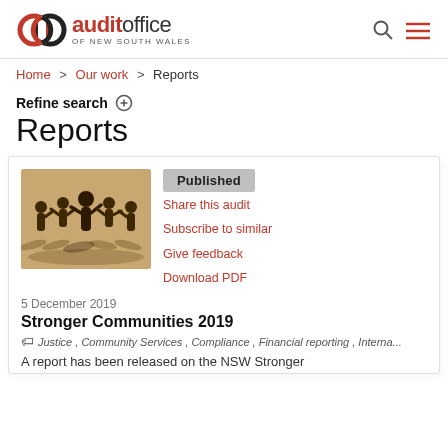[Figure (logo): Audit Office of New South Wales logo with infinity/loop symbol in red and black]
Home > Our work > Reports
Refine search ⊕
Reports
[Figure (photo): Silhouette of paper cutout people figures holding hands, warm sandy background]
Published
Share this audit
Subscribe to similar
Give feedback
Download PDF
5 December 2019
Stronger Communities 2019
Justice , Community Services , Compliance , Financial reporting , Interna...
A report has been released on the NSW Stronger